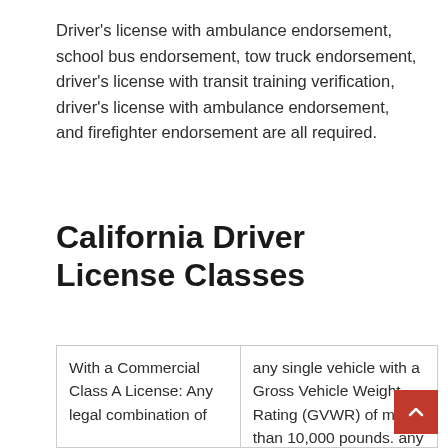Driver's license with ambulance endorsement, school bus endorsement, tow truck endorsement, driver's license with transit training verification, driver's license with ambulance endorsement, and firefighter endorsement are all required.
California Driver License Classes
| With a Commercial Class A License: Any legal combination of | any single vehicle with a Gross Vehicle Weight Rating (GVWR) of more than 10,000 pounds. any |